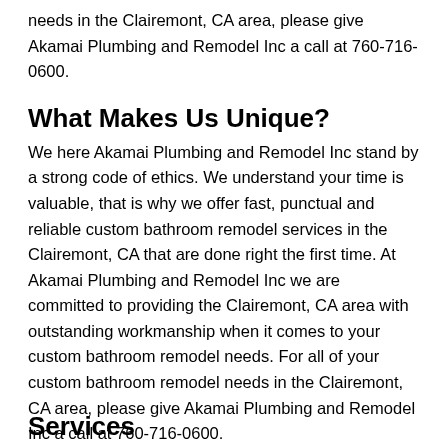needs in the Clairemont, CA area, please give Akamai Plumbing and Remodel Inc a call at 760-716-0600.
What Makes Us Unique?
We here Akamai Plumbing and Remodel Inc stand by a strong code of ethics. We understand your time is valuable, that is why we offer fast, punctual and reliable custom bathroom remodel services in the Clairemont, CA that are done right the first time. At Akamai Plumbing and Remodel Inc we are committed to providing the Clairemont, CA area with outstanding workmanship when it comes to your custom bathroom remodel needs. For all of your custom bathroom remodel needs in the Clairemont, CA area, please give Akamai Plumbing and Remodel Inc a call at 760-716-0600.
Services